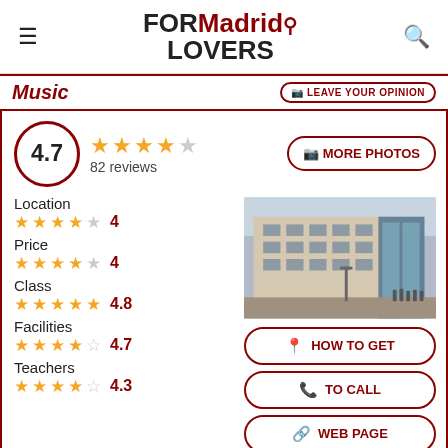FOR Madrid LOVERS
Music
4.7 — 82 reviews
Location: 4 stars — 4
Price: 4 stars — 4
Class: 5 stars — 4.8
Facilities: 4.5 stars — 4.7
Teachers: 4 stars — 4.3
[Figure (photo): Exterior of a modern/classical building in Madrid, multi-storey with large glass windows]
MORE PHOTOS
HOW TO GET
TO CALL
WEB PAGE